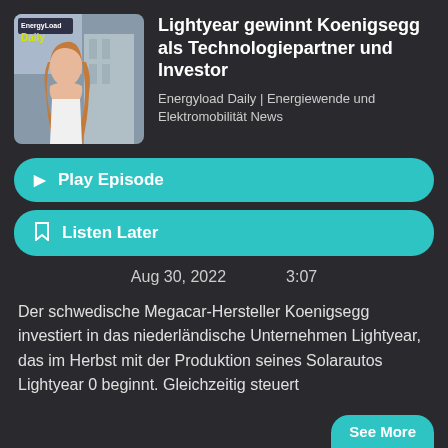[Figure (photo): Podcast thumbnail showing a woman with curly red-brown hair in a white t-shirt, with 'EnergyLoad Daily' branding overlay]
Lightyear gewinnt Koenigsegg als Technologiepartner und Investor
Energyload Daily | Energiewende und Elektromobilität News
Play Episode
Listen Later
Aug 30, 2022     3:07
Der schwedische Megacar-Hersteller Koenigsegg investiert in das niederländische Unternehmen Lightyear, das im Herbst mit der Produktion seines Solarautos Lightyear 0 beginnt. Gleichzeitig steuert
See More